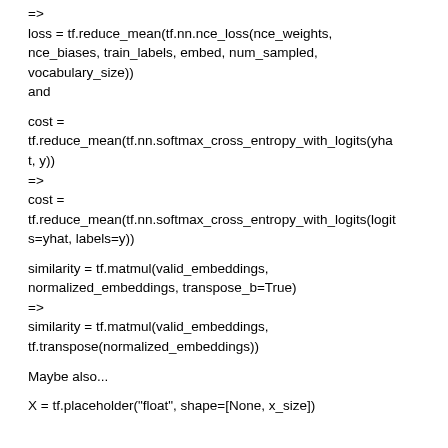=>
loss = tf.reduce_mean(tf.nn.nce_loss(nce_weights, nce_biases, train_labels, embed, num_sampled, vocabulary_size))
and
cost =
tf.reduce_mean(tf.nn.softmax_cross_entropy_with_logits(yhat, y))
=>
cost =
tf.reduce_mean(tf.nn.softmax_cross_entropy_with_logits(logits=yhat, labels=y))
similarity = tf.matmul(valid_embeddings, normalized_embeddings, transpose_b=True)
=>
similarity = tf.matmul(valid_embeddings, tf.transpose(normalized_embeddings))
Maybe also...
X = tf.placeholder("float", shape=[None, x_size])